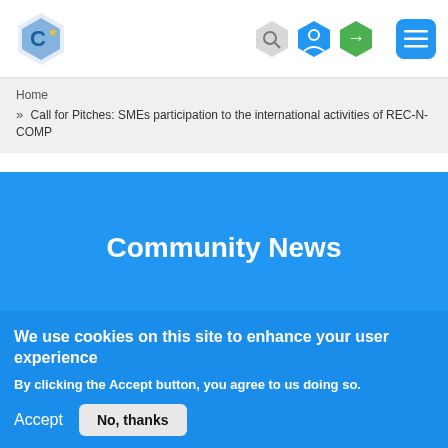Community News website header with logo, search, user and login icons, and hamburger menu
Home
>> Call for Pitches: SMEs participation to the international activities of REC-N-COMP
Community News
We use cookies on this site to enhance your user experience
By clicking the Accept button, you agree to us doing so.
Accept  No, thanks